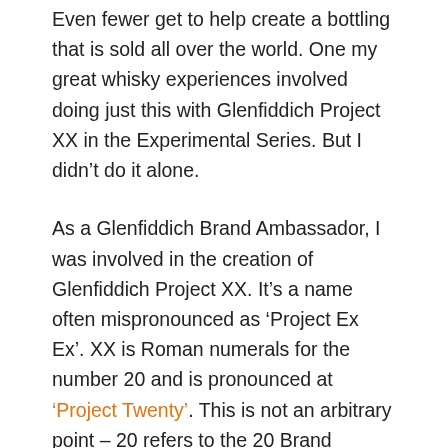Even fewer get to help create a bottling that is sold all over the world. One my great whisky experiences involved doing just this with Glenfiddich Project XX in the Experimental Series. But I didn't do it alone.
As a Glenfiddich Brand Ambassador, I was involved in the creation of Glenfiddich Project XX. It's a name often mispronounced as 'Project Ex Ex'. XX is Roman numerals for the number 20 and is pronounced at 'Project Twenty'. This is not an arbitrary point – 20 refers to the 20 Brand Ambassadors involved. It couldn't be called 'Project 20' as that would contravene laws on